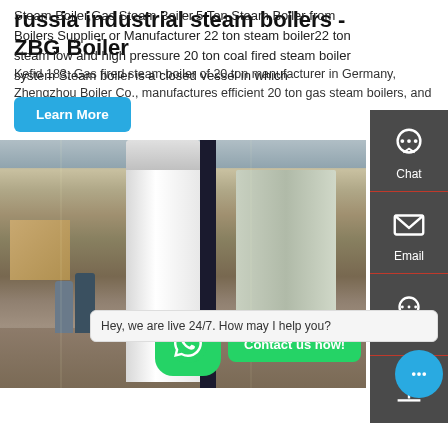Steam Boiler,Gas Steam Boiler,5 Ton Steam Boiler from Boilers Supplier or Manufacturer 22 ton steam boiler22 ton steam low and high pressure 20 ton coal fired steam boiler system Steam boiler is a closed vessel in which
Learn More
[Figure (photo): Factory floor showing large industrial steam boilers, including a tall white cylindrical boiler and a dark blue vertical pipe, with workers and equipment visible in the background]
russia industrial steam boilers - ZBG Boiler
Kefid 183; Gas fired steam boiler of 20 ton manufacturer in Germany, Zhengzhou Boiler Co., manufactures efficient 20 ton gas steam boilers, and we are also